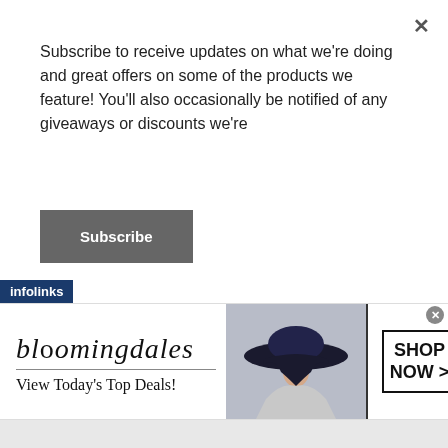Subscribe to receive updates on what we're doing and great offers on some of the products we feature! You'll also occasionally be notified of any giveaways or discounts we're
Subscribe
topic, you bring us to see the possibilities of confronting aging from a purely scientific perspective.   This opens the door to gaining a perspective of aging as an evolutionary pathway.  Aging is  a great topic for a health blog.  I found the article in general to be informative for the
[Figure (screenshot): Bloomingdales advertisement banner with logo, 'View Today's Top Deals!' tagline, woman with hat image, and 'SHOP NOW >' button]